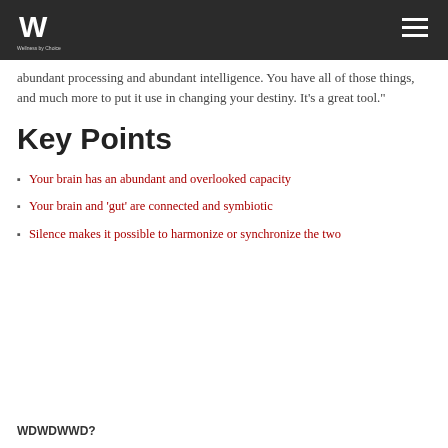Wellness by Choice
abundant processing and abundant intelligence. You have all of those things, and much more to put it use in changing your destiny. It's a great tool."
Key Points
Your brain has an abundant and overlooked capacity
Your brain and 'gut' are connected and symbiotic
Silence makes it possible to harmonize or synchronize the two
WDWDWWD?